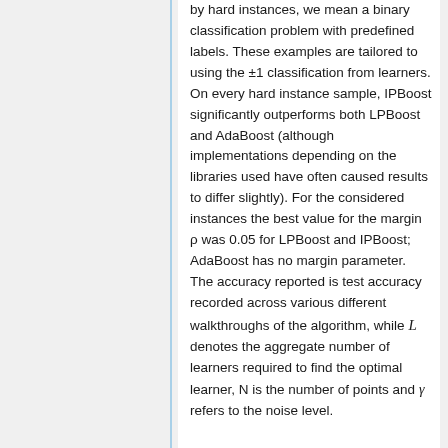by hard instances, we mean a binary classification problem with predefined labels. These examples are tailored to using the ±1 classification from learners. On every hard instance sample, IPBoost significantly outperforms both LPBoost and AdaBoost (although implementations depending on the libraries used have often caused results to differ slightly). For the considered instances the best value for the margin ρ was 0.05 for LPBoost and IPBoost; AdaBoost has no margin parameter. The accuracy reported is test accuracy recorded across various different walkthroughs of the algorithm, while L denotes the aggregate number of learners required to find the optimal learner, N is the number of points and γ refers to the noise level.